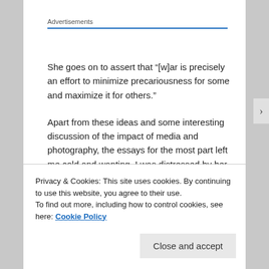Advertisements
She goes on to assert that “[w]ar is precisely an effort to minimize precariousness for some and maximize it for others.”
Apart from these ideas and some interesting discussion of the impact of media and photography, the essays for the most part left me cold and wanting. I was distressed by her use of language. For example, she uses the word
Privacy & Cookies: This site uses cookies. By continuing to use this website, you agree to their use.
To find out more, including how to control cookies, see here: Cookie Policy